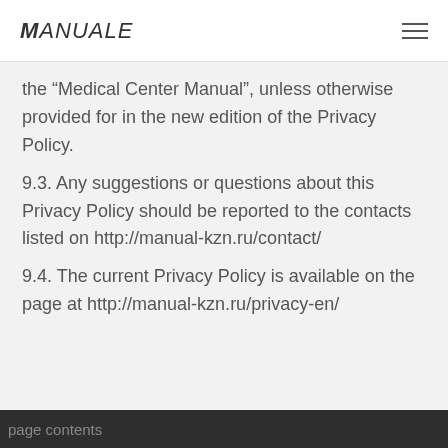Manuale
the “Medical Center Manual”, unless otherwise provided for in the new edition of the Privacy Policy.
9.3. Any suggestions or questions about this Privacy Policy should be reported to the contacts listed on http://manual-kzn.ru/contact/
9.4. The current Privacy Policy is available on the page at http://manual-kzn.ru/privacy-en/
page contents